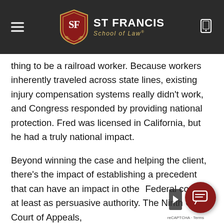St Francis School of Law
thing to be a railroad worker. Because workers inherently traveled across state lines, existing injury compensation systems really didn't work, and Congress responded by providing national protection. Fred was licensed in California, but he had a truly national impact.
Beyond winning the case and helping the client, there's the impact of establishing a precedent that can have an impact in other Federal courts, at least as persuasive authority. The Ninth Circuit Court of Appeals,